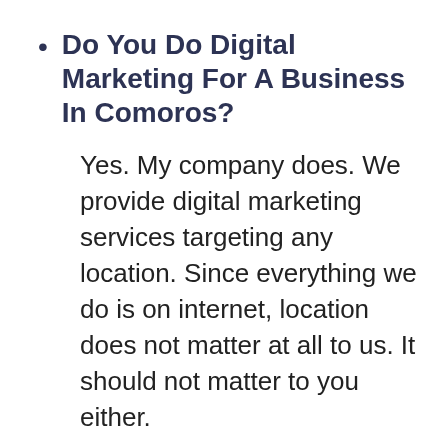Do You Do Digital Marketing For A Business In Comoros?
Yes. My company does. We provide digital marketing services targeting any location. Since everything we do is on internet, location does not matter at all to us. It should not matter to you either.